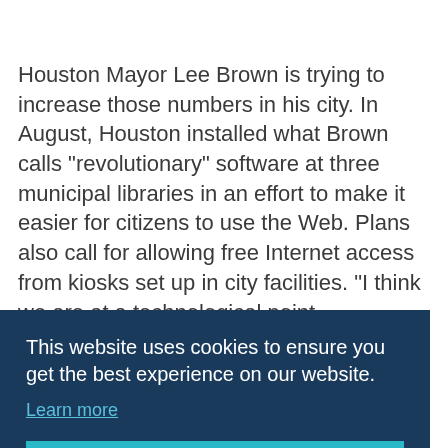Houston Mayor Lee Brown is trying to increase those numbers in his city. In August, Houston installed what Brown calls "revolutionary" software at three municipal libraries in an effort to make it easier for citizens to use the Web. Plans also call for allowing free Internet access from kiosks set up in city facilities. "I think we are at a technological point
e. "It
cility se isingly wired society - are glad they're there. Says Lodvis,
[Figure (other): Cookie consent banner overlay with dark navy background. Text reads: 'This website uses cookies to ensure you get the best experience on our website.' with a 'Learn more' underlined link, and a teal 'Got it!' button.]